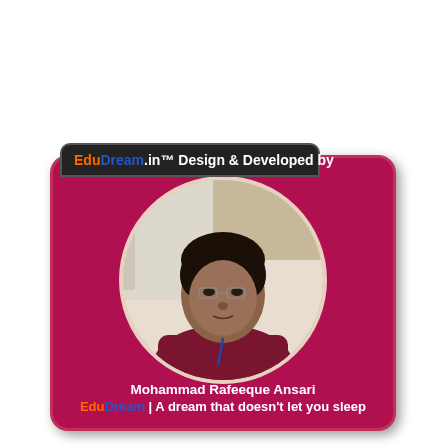[Figure (other): EduDream.in brand card with circular photo of Mohammad Rafeeque Ansari, a man with glasses wearing a dark red shirt, on a crimson/maroon background card. Header bar reads 'EduDream.in TM Design & Developed by'. Bottom text: 'Mohammad Rafeeque Ansari' and 'EduDream | A dream that doesn't let you sleep']
EduDream.in™  Design & Developed by
Mohammad Rafeeque Ansari
EduDream | A dream that doesn't let you sleep